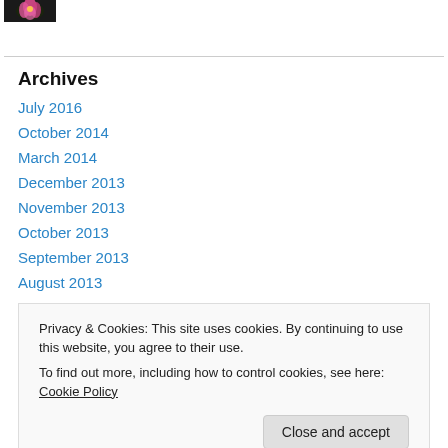[Figure (photo): Small thumbnail photo of a pink flower on dark background]
Archives
July 2016
October 2014
March 2014
December 2013
November 2013
October 2013
September 2013
August 2013
Privacy & Cookies: This site uses cookies. By continuing to use this website, you agree to their use.
To find out more, including how to control cookies, see here: Cookie Policy
Close and accept